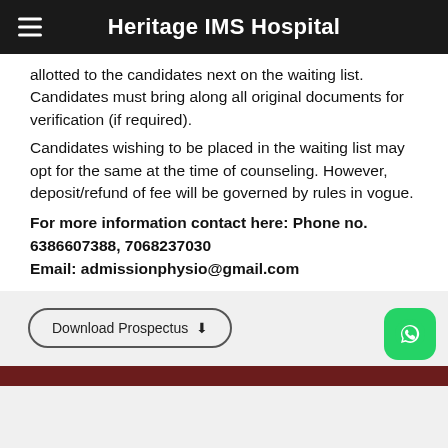Heritage IMS Hospital
allotted to the candidates next on the waiting list. Candidates must bring along all original documents for verification (if required).
Candidates wishing to be placed in the waiting list may opt for the same at the time of counseling. However, deposit/refund of fee will be governed by rules in vogue.
For more information contact here: Phone no. 6386607388, 7068237030
Email: admissionphysio@gmail.com
[Figure (other): Download Prospectus button with download icon, and WhatsApp floating action button (green rounded square with WhatsApp logo)]